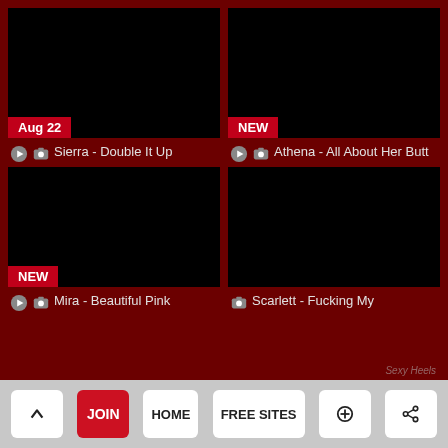[Figure (screenshot): Black video thumbnail with 'Aug 22' badge]
Sierra - Double It Up
[Figure (screenshot): Black video thumbnail with 'NEW' badge]
Athena - All About Her Butt
[Figure (screenshot): Black video thumbnail with 'NEW' badge]
Mira - Beautiful Pink
[Figure (screenshot): Black video thumbnail, no badge]
Scarlett - Fucking My
Sexy Heels
^ JOIN HOME FREE SITES search share